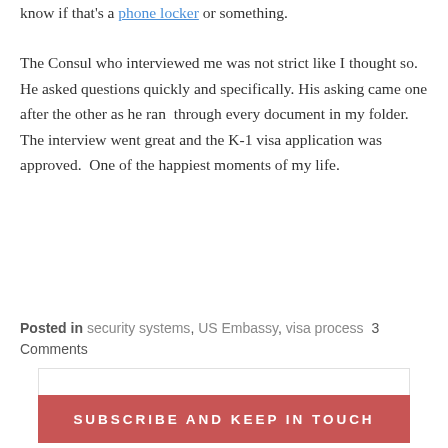know if that's a phone locker or something.
The Consul who interviewed me was not strict like I thought so.  He asked questions quickly and specifically. His asking came one after the other as he ran  through every document in my folder. The interview went great and the K-1 visa application was approved.  One of the happiest moments of my life.
Posted in security systems, US Embassy, visa process  3 Comments
SUBSCRIBE AND KEEP IN TOUCH